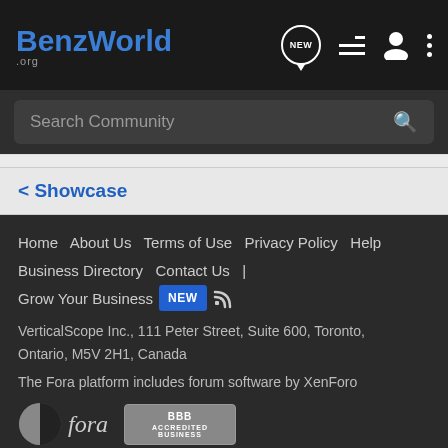BenzWorld .org — header with logo, NEW, list, person, and dots icons
Search Community
< Showcase
Home  About Us  Terms of Use  Privacy Policy  Help  Business Directory  Contact Us  |  Grow Your Business  NEW  [rss icon]

VerticalScope Inc., 111 Peter Street, Suite 600, Toronto, Ontario, M5V 2H1, Canada

The Fora platform includes forum software by XenForo

[Fora logo] [BBB Accredited Business badge]